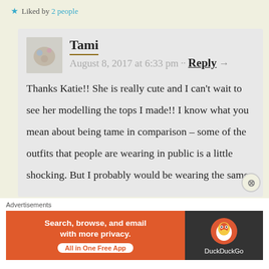★ Liked by 2 people
Tami  August 8, 2017 at 6:33 pm · · Reply →
Thanks Katie!! She is really cute and I can't wait to see her modelling the tops I made!! I know what you mean about being tame in comparison – some of the outfits that people are wearing in public is a little shocking. But I probably would be wearing the same
Advertisements
[Figure (screenshot): DuckDuckGo advertisement banner: orange section with 'Search, browse, and email with more privacy. All in One Free App' and dark section with DuckDuckGo duck logo]